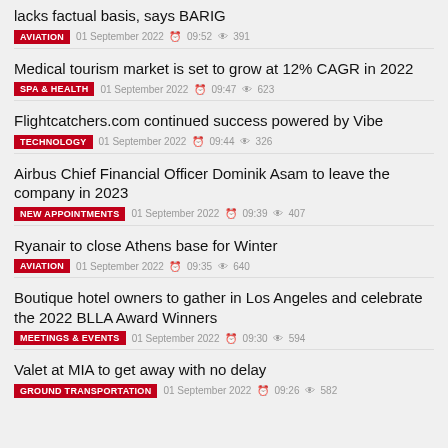lacks factual basis, says BARIG
AVIATION | 01 September 2022 | 09:52 | 391
Medical tourism market is set to grow at 12% CAGR in 2022
SPA & HEALTH | 01 September 2022 | 09:47 | 623
Flightcatchers.com continued success powered by Vibe
TECHNOLOGY | 01 September 2022 | 09:44 | 326
Airbus Chief Financial Officer Dominik Asam to leave the company in 2023
NEW APPOINTMENTS | 01 September 2022 | 09:39 | 407
Ryanair to close Athens base for Winter
AVIATION | 01 September 2022 | 09:35 | 640
Boutique hotel owners to gather in Los Angeles and celebrate the 2022 BLLA Award Winners
MEETINGS & EVENTS | 01 September 2022 | 09:30 | 594
Valet at MIA to get away with no delay
GROUND TRANSPORTATION | 01 September 2022 | 09:26 | 582